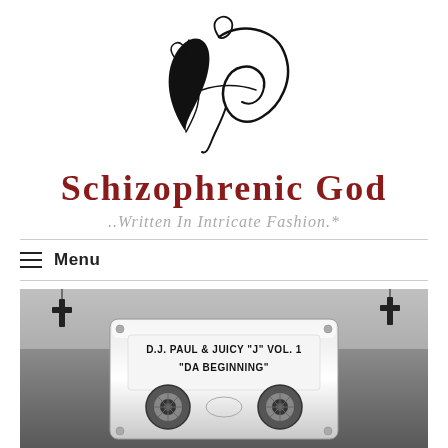[Figure (logo): Decorative calligraphic logo mark in black ink, stylized monogram]
Schizophrenic God
..Written In Intricate Fashion.*
Menu
[Figure (photo): Black and white photo of a cassette tape labeled 'D.J. Paul & Juicy "J" Vol. 1 "Da Beginning"' with cross pendants visible on either side]